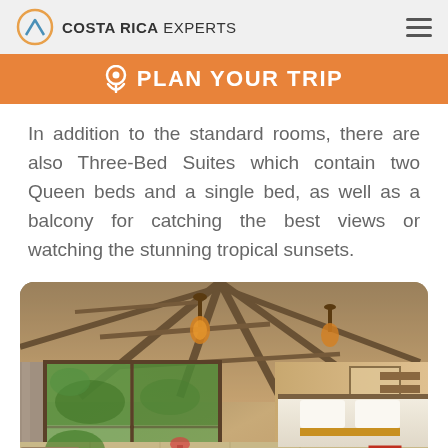COSTA RICA EXPERTS
PLAN YOUR TRIP
In addition to the standard rooms, there are also Three-Bed Suites which contain two Queen beds and a single bed, as well as a balcony for catching the best views or watching the stunning tropical sunsets.
[Figure (photo): Interior of a tropical hotel suite with exposed wood beam vaulted ceiling, large sliding glass doors opening to a jungle balcony, pendant lights, and a bed with white linens and yellow accent in the background right.]